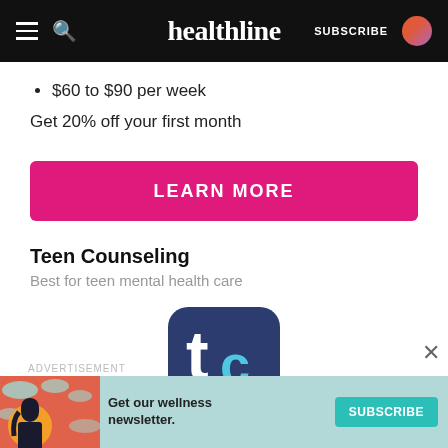healthline — SUBSCRIBE
$60 to $90 per week
Get 20% off your first month
[Figure (other): Pink 'LEARN MORE' call-to-action button]
Teen Counseling
Best for teen mental health care
[Figure (logo): Teen Counseling app logo — dark navy rounded square with stylized 'tc' letters in white and teal]
ADVERTISEMENT
[Figure (infographic): Advertisement banner: 'Get our wellness newsletter.' with SUBSCRIBE button and illustrated girl]